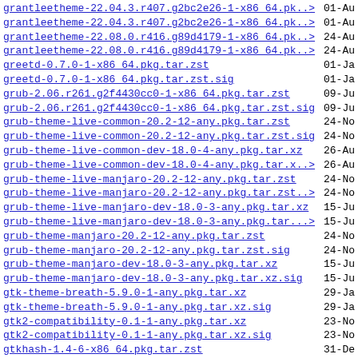grantleetheme-22.04.3.r407.g2bc2e26-1-x86_64.pk..> 01-Au
grantleetheme-22.04.3.r407.g2bc2e26-1-x86_64.pk..> 01-Au
grantleetheme-22.08.0.r416.g89d4179-1-x86_64.pk..> 24-Au
grantleetheme-22.08.0.r416.g89d4179-1-x86_64.pk..> 24-Au
greetd-0.7.0-1-x86_64.pkg.tar.zst 01-Ja
greetd-0.7.0-1-x86_64.pkg.tar.zst.sig 01-Ja
grub-2.06.r261.g2f4430cc0-1-x86_64.pkg.tar.zst 09-Ju
grub-2.06.r261.g2f4430cc0-1-x86_64.pkg.tar.zst.sig 09-Ju
grub-theme-live-common-20.2-12-any.pkg.tar.zst 24-No
grub-theme-live-common-20.2-12-any.pkg.tar.zst.sig 24-No
grub-theme-live-common-dev-18.0-4-any.pkg.tar.xz 26-Au
grub-theme-live-common-dev-18.0-4-any.pkg.tar.x..> 26-Au
grub-theme-live-manjaro-20.2-12-any.pkg.tar.zst 24-No
grub-theme-live-manjaro-20.2-12-any.pkg.tar.zst..> 24-No
grub-theme-live-manjaro-dev-18.0-3-any.pkg.tar.xz 15-Ju
grub-theme-live-manjaro-dev-18.0-3-any.pkg.tar...> 15-Ju
grub-theme-manjaro-20.2-12-any.pkg.tar.zst 24-No
grub-theme-manjaro-20.2-12-any.pkg.tar.zst.sig 24-No
grub-theme-manjaro-dev-18.0-3-any.pkg.tar.xz 15-Ju
grub-theme-manjaro-dev-18.0-3-any.pkg.tar.xz.sig 15-Ju
gtk-theme-breath-5.9.0-1-any.pkg.tar.xz 29-Ja
gtk-theme-breath-5.9.0-1-any.pkg.tar.xz.sig 29-Ja
gtk2-compatibility-0.1-1-any.pkg.tar.xz 23-No
gtk2-compatibility-0.1-1-any.pkg.tar.xz.sig 23-No
gtkhash-1.4-6-x86_64.pkg.tar.zst 31-De
gtkhash-1.4-6-x86_64.pkg.tar.zst.sig 31-De
gtkhash-caja-1.4-6-x86_64.pkg.tar.zst 31-De
gtkhash-caja-1.4-6-x86_64.pkg.tar.zst.sig 31-De
gtkhash-nautilus-1.4-6-x86_64.pkg.tar.zst 31-De
gtkhash-nautilus-1.4-6-x86_64.pkg.tar.zst.sig 31-De